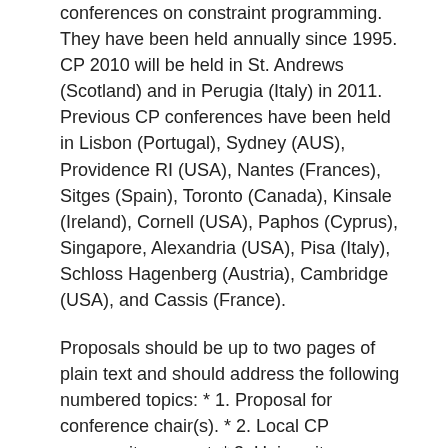conferences on constraint programming. They have been held annually since 1995. CP 2010 will be held in St. Andrews (Scotland) and in Perugia (Italy) in 2011. Previous CP conferences have been held in Lisbon (Portugal), Sydney (AUS), Providence RI (USA), Nantes (Frances), Sitges (Spain), Toronto (Canada), Kinsale (Ireland), Cornell (USA), Paphos (Cyprus), Singapore, Alexandria (USA), Pisa (Italy), Schloss Hagenberg (Austria), Cambridge (USA), and Cassis (France).
Proposals should be up to two pages of plain text and should address the following numbered topics: * 1. Proposal for conference chair(s). * 2. Local CP community support. * 3. University, government and industry support, especially financial. * 4. Proposed dates, and flexibility around these dates. * 5. Co-located events that might be held alongside CP. * 6. Conference and exhibition facilities (CP typically attracts between 200 and 250 delegates). * 7. Accommodation and food services. * 8. Site accessibility, attractiveness, and desirability. * 9.